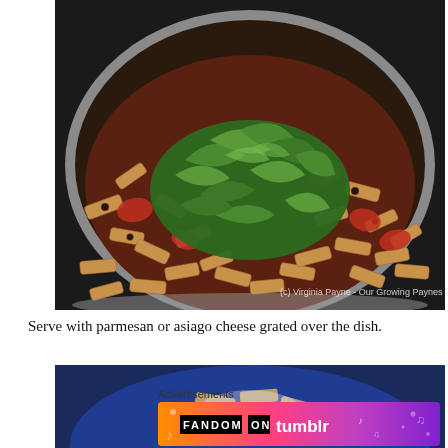[Figure (photo): A large stainless steel skillet with penne pasta in tomato sauce, topped with a mound of fresh green basil/arugula leaves. Watermark reads '(c) Virginia Payne - Our Growing Paynes']
Serve with parmesan or asiago cheese grated over the dish.
[Figure (photo): A blue plate with penne pasta partially visible, bottom portion of image]
Advertisements
[Figure (infographic): FANDOM ON tumblr advertisement banner with colorful gradient background (orange to purple) with music notes and decorative elements]